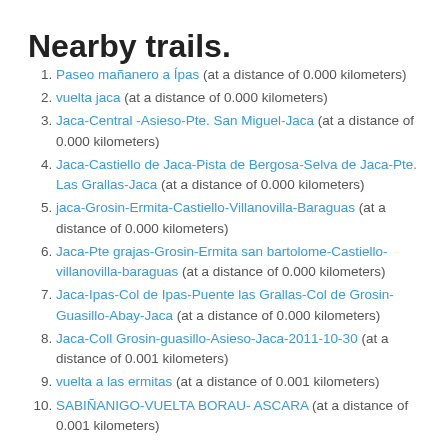Nearby trails.
Paseo mañanero a Ípas (at a distance of 0.000 kilometers)
vuelta jaca (at a distance of 0.000 kilometers)
Jaca-Central -Asieso-Pte. San Miguel-Jaca (at a distance of 0.000 kilometers)
Jaca-Castiello de Jaca-Pista de Bergosa-Selva de Jaca-Pte. Las Grallas-Jaca (at a distance of 0.000 kilometers)
jaca-Grosin-Ermita-Castiello-Villanovilla-Baraguas (at a distance of 0.000 kilometers)
Jaca-Pte grajas-Grosin-Ermita san bartolome-Castiello-villanovilla-baraguas (at a distance of 0.000 kilometers)
Jaca-Ipas-Col de Ipas-Puente las Grallas-Col de Grosin-Guasillo-Abay-Jaca (at a distance of 0.000 kilometers)
Jaca-Coll Grosin-guasillo-Asieso-Jaca-2011-10-30 (at a distance of 0.001 kilometers)
vuelta a las ermitas (at a distance of 0.001 kilometers)
SABIÑANIGO-VUELTA BORAU- ASCARA (at a distance of 0.001 kilometers)